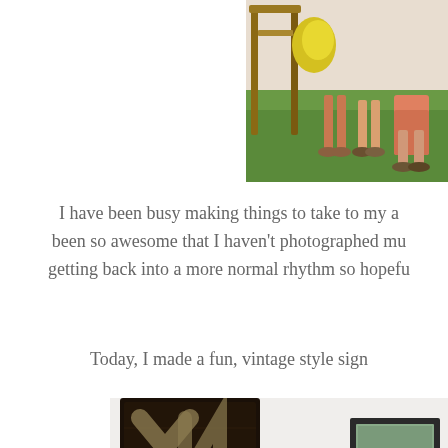[Figure (photo): Partial photo showing people's legs standing on green grass near a wooden structure, cropped at top of page (right side)]
I have been busy making things to take to my a been so awesome that I haven't photographed mu getting back into a more normal rhythm so hopef
Today, I made a fun, vintage style sign
[Figure (photo): Photo of a dark wooden vintage-style sign board propped against a white wall, with another dark framed item visible to the right]